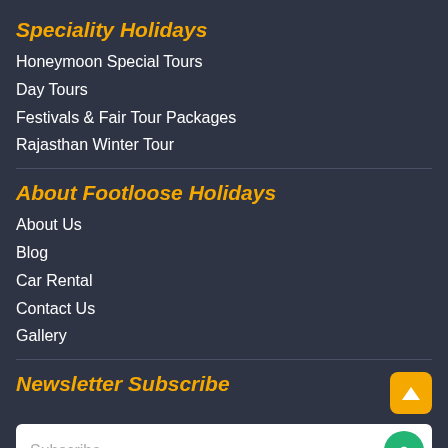Speciality Holidays
Honeymoon Special Tours
Day Tours
Festivals & Fair Tour Packages
Rajasthan Winter Tour
About Footloose Holidays
About Us
Blog
Car Rental
Contact Us
Gallery
Newsletter Subscribe
Subscribe...